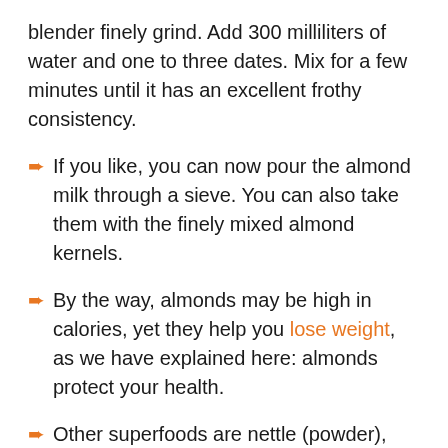blender finely grind. Add 300 milliliters of water and one to three dates. Mix for a few minutes until it has an excellent frothy consistency.
If you like, you can now pour the almond milk through a sieve. You can also take them with the finely mixed almond kernels.
By the way, almonds may be high in calories, yet they help you lose weight, as we have explained here: almonds protect your health.
Other superfoods are nettle (powder), dandelion (powder), the aronia and the acai berry, barley grass, maca, hemp seed, chia seeds and of course the blood sugar lowering capsaicin from the chili pepper.